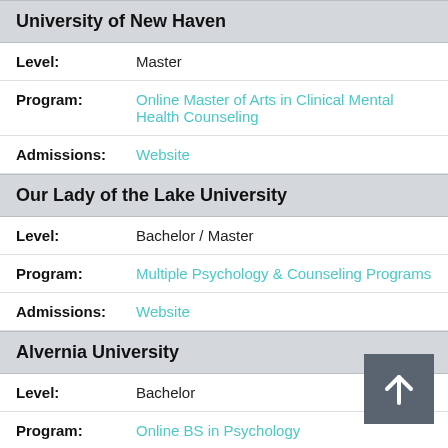University of New Haven
Level: Master
Program: Online Master of Arts in Clinical Mental Health Counseling
Admissions: Website
Our Lady of the Lake University
Level: Bachelor / Master
Program: Multiple Psychology & Counseling Programs
Admissions: Website
Alvernia University
Level: Bachelor
Program: Online BS in Psychology
Admissions: Website
Our Lady of the Lake University
Level: Master